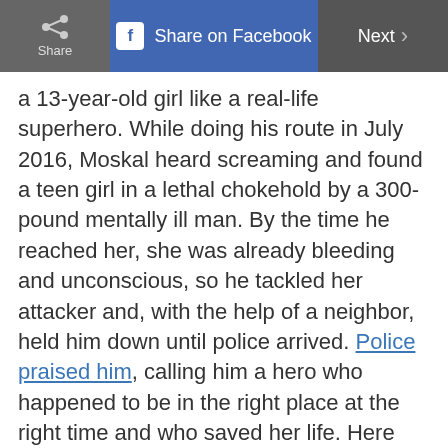Share | Share on Facebook | Next >
a 13-year-old girl like a real-life superhero. While doing his route in July 2016, Moskal heard screaming and found a teen girl in a lethal chokehold by a 300-pound mentally ill man. By the time he reached her, she was already bleeding and unconscious, so he tackled her attacker and, with the help of a neighbor, held him down until police arrived. Police praised him, calling him a hero who happened to be in the right place at the right time and who saved her life. Here are another 20 real-life heroes who are changing the world.
4 / 14